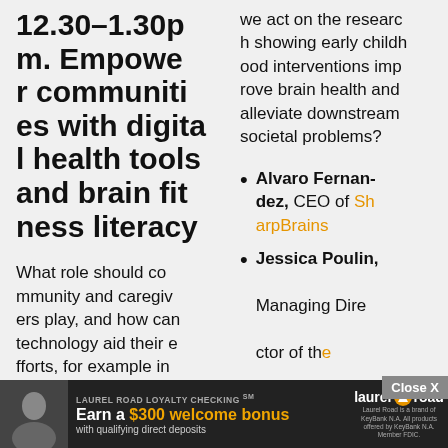12.30–1.30pm. Empower communities with digital health tools and brain fitness literacy
What role should community and caregivers play, and how can technology aid their efforts, for example in sharing relevant data with/ from doctors? H ow... di...
we act on the research showing early childhood interventions improve brain health and alleviate downstream societal problems?
Alvaro Fernandez, CEO of SharpBrains
Jessica Poulin, Managing Director of th...
Close X
LAUREL ROAD LOYALTY CHECKING℠ Earn a $300 welcome bonus with qualifying direct deposits